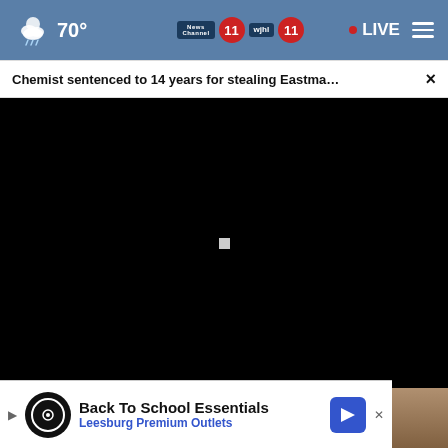70° News Channel 11 wjhl 11 • LIVE
Chemist sentenced to 14 years for stealing Eastma… ×
[Figure (screenshot): Black video player area with a small white play/pause icon in the center]
City of Kingsport celebrates 200…
Meet the festival wraps
Back To School Essentials Leesburg Premium Outlets